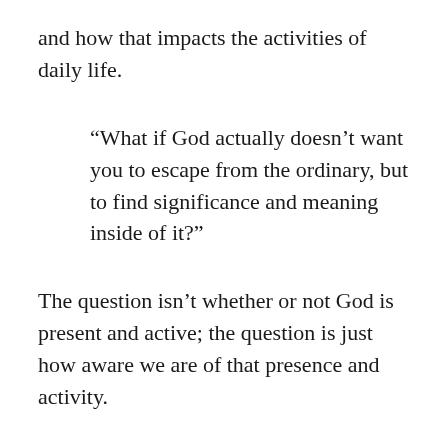and how that impacts the activities of daily life.
“What if God actually doesn’t want you to escape from the ordinary, but to find significance and meaning inside of it?”
The question isn’t whether or not God is present and active; the question is just how aware we are of that presence and activity.
“This greater reality is happening right in the middle of the ordinary people, singing in their off-key kind of way…